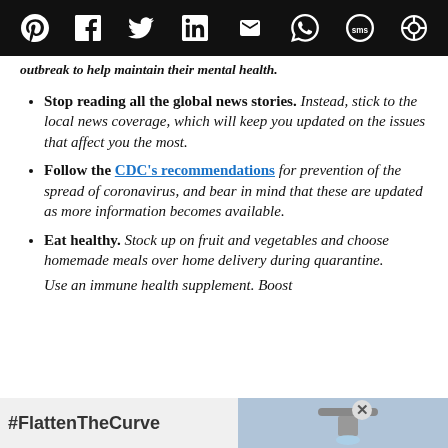Social sharing icons bar (Pinterest, Facebook, Twitter, LinkedIn, Email, WhatsApp, SMS, Sharethis)
outbreak to help maintain their mental health.
Stop reading all the global news stories.  Instead,  stick to the local news coverage, which will keep you updated on the issues that affect you the most.
Follow the CDC's recommendations for prevention of the spread of coronavirus, and bear in mind that these are updated as more information becomes available.
Eat healthy.  Stock up on fruit and vegetables and choose homemade meals over home delivery during quarantine.
Use an immune health supplement.  Boost
#FlattenTheCurve